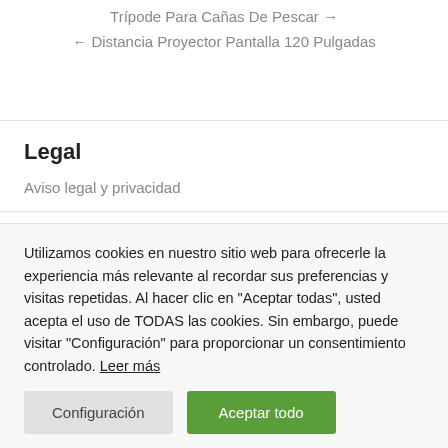Trípode Para Cañas De Pescar →
← Distancia Proyector Pantalla 120 Pulgadas
Legal
Aviso legal y privacidad
Utilizamos cookies en nuestro sitio web para ofrecerle la experiencia más relevante al recordar sus preferencias y visitas repetidas. Al hacer clic en "Aceptar todas", usted acepta el uso de TODAS las cookies. Sin embargo, puede visitar "Configuración" para proporcionar un consentimiento controlado. Leer más
Configuración
Aceptar todo